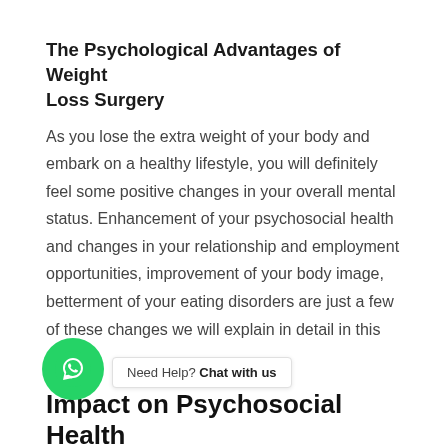The Psychological Advantages of Weight Loss Surgery
As you lose the extra weight of your body and embark on a healthy lifestyle, you will definitely feel some positive changes in your overall mental status. Enhancement of your psychosocial health and changes in your relationship and employment opportunities, improvement of your body image, betterment of your eating disorders are just a few of these changes we will explain in detail in this section.
Impact on Psychosocial Health
A study published by The International Journal of Obesity observed the changes in the [patients'] lives after bariatric surgery. The result shows noticeable improvements in their social relations and